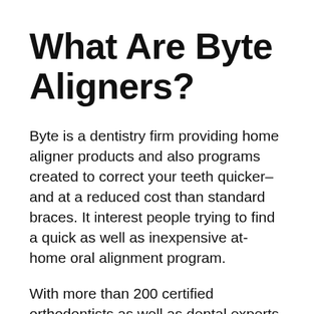What Are Byte Aligners?
Byte is a dentistry firm providing home aligner products and also programs created to correct your teeth quicker– and at a reduced cost than standard braces. It interest people trying to find a quick as well as inexpensive at-home oral alignment program.
With more than 200 certified orthodontists as well as dental experts throughout the U.S., Byte asserts they just approve individuals that are the ideal prospects for teledentistry– which normally includes